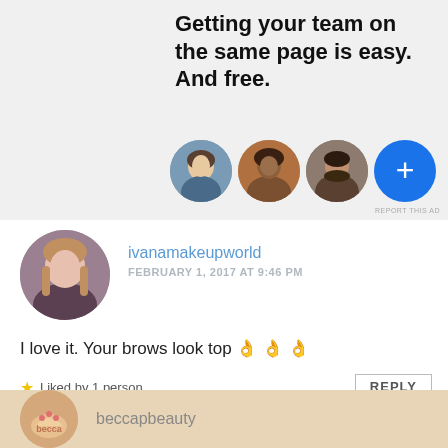[Figure (screenshot): Advertisement banner with headline 'Getting your team on the same page is easy. And free.' with four circular avatars (three people photos and one blue plus button)]
REPORT THIS AD
ivanamakeupworld
FEBRUARY 1, 2017 AT 9:46 PM
I love it. Your brows look top 👌👌👌
Liked by 1 person
REPLY
beccapbeauty